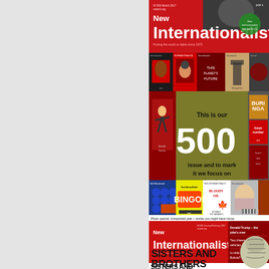[Figure (illustration): Left half of page is blank gray/white background, approximately half the page width.]
[Figure (photo): New Internationalist magazine issue 500 cover collage. Top: red NI masthead cover for March 2017 issue 500. Middle rows: grid of small past NI magazine covers. Center: gold/olive background block reading 'This is our 500th issue and to mark it we focus on people who are exceptionally BRAVE'. Below: another row of small NI magazine covers. Caption reads 'Photo special: Unreported year – stories you might have misse'. Bottom: NI masthead for issue 499 January/February 2017 with headlines 'Donald Trump – the joke's over', 'Two cheers for ele vehicles', 'Is child labour OK Bolivia?'. Very bottom: white section with 'SISTERS AND BROTHERS' bold text and illustrated globe/head figure.]